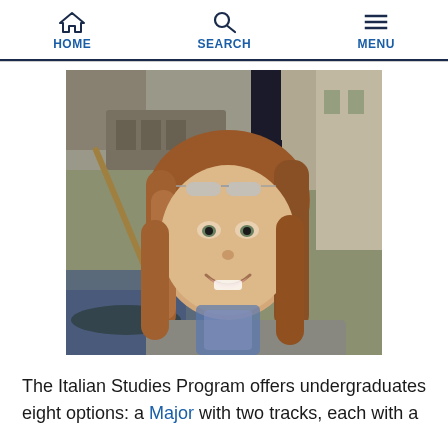HOME  SEARCH  MENU
[Figure (photo): Young woman with long auburn hair and sunglasses on her head, smiling broadly, seated in a gondola on a Venetian canal. Stone bridge and old buildings visible in the background.]
The Italian Studies Program offers undergraduates eight options: a Major with two tracks, each with a